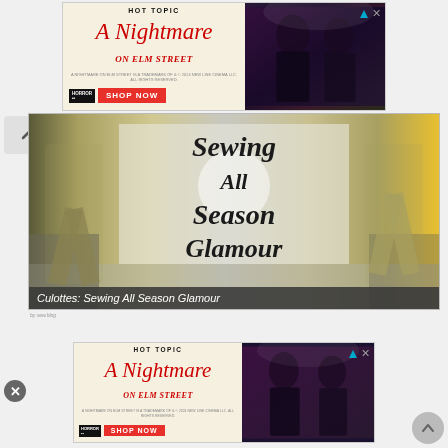[Figure (screenshot): Hot Topic 'A Nightmare on Elm Street' advertisement banner at top of page, showing the movie title in red horror font with tagline and two people in branded clothing. Includes a 'SHOP NOW' button.]
[Figure (photo): Main article image showing culottes/wide-leg pants on clothing forms/mannequins with a sign reading 'Sewing All Season Glamour' overlaid. Caption reads 'Culottes: Sewing All Season Glamour'.]
Culottes: Sewing All Season Glamour
[Figure (screenshot): Second Hot Topic 'A Nightmare on Elm Street' advertisement banner at bottom of page, identical to the top ad. Includes a 'SHOP NOW' button.]